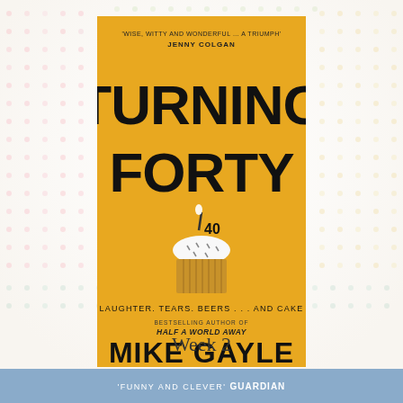[Figure (illustration): Book cover of 'Turning Forty' by Mike Gayle on a colorful dotted background. The cover is yellow/golden with large bold black text reading 'TURNING FORTY', a cupcake illustration with a candle marked '40', tagline 'LAUGHTER. TEARS. BEERS.... AND CAKE', and author name 'MIKE GAYLE'. Quote at top: 'WISE, WITTY AND WONDERFUL.... A TRIUMPH' JENNY COLGAN. Subtitle: BESTSELLING AUTHOR OF HALF A WORLD AWAY.]
Week 2
'FUNNY AND CLEVER' GUARDIAN